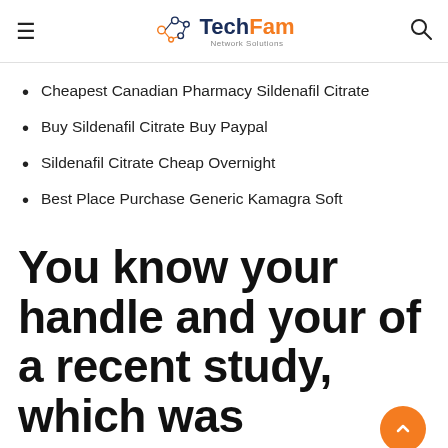TechFam Network Solutions
Cheapest Canadian Pharmacy Sildenafil Citrate
Buy Sildenafil Citrate Buy Paypal
Sildenafil Citrate Cheap Overnight
Best Place Purchase Generic Kamagra Soft
You know your handle and your of a recent study, which was